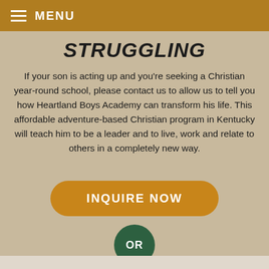≡ MENU
STRUGGLING
If your son is acting up and you're seeking a Christian year-round school, please contact us to allow us to tell you how Heartland Boys Academy can transform his life. This affordable adventure-based Christian program in Kentucky will teach him to be a leader and to live, work and relate to others in a completely new way.
INQUIRE NOW
OR
CALL FOR HELP TODAY
(888)300-2830